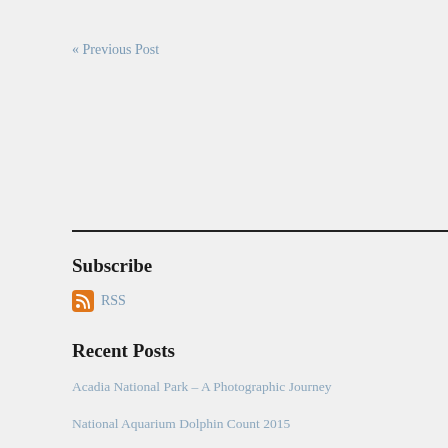« Previous Post
Subscribe
RSS
Recent Posts
Acadia National Park – A Photographic Journey
National Aquarium Dolphin Count 2015
Nikon 85Mmm f/1.4 D vs G - Review
2015 Washington DC Global Race For The Cure - RACE FOR IMPACT
Traveling with a Full Frame Camera: Nikon 28-300mm and Nikon 20mm lenses
Nikon TC-14e III Quick Look
31st Annual National Night Out
Key
photog
Baltim
How t
Nikon
Kome
Nation
1.4
85mm
Nikko
Nikon